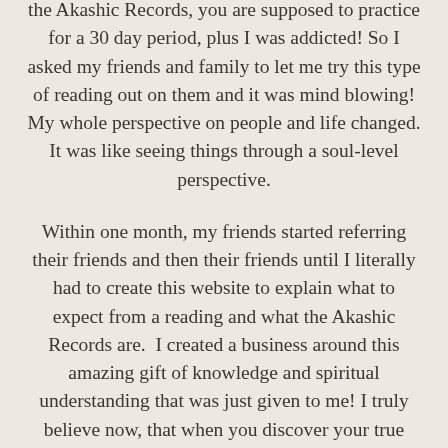the Akashic Records, you are supposed to practice for a 30 day period, plus I was addicted! So I asked my friends and family to let me try this type of reading out on them and it was mind blowing! My whole perspective on people and life changed. It was like seeing things through a soul-level perspective.
Within one month, my friends started referring their friends and then their friends until I literally had to create this website to explain what to expect from a reading and what the Akashic Records are.  I created a business around this amazing gift of knowledge and spiritual understanding that was just given to me! I truly believe now, that when you discover your true